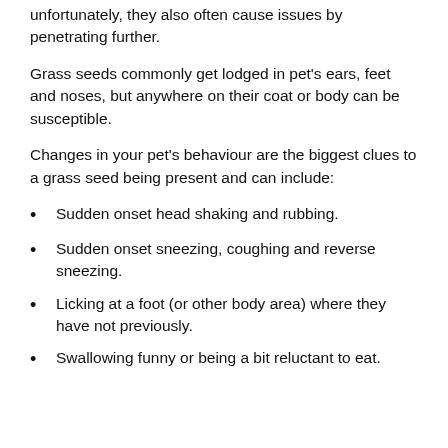unfortunately, they also often cause issues by penetrating further.
Grass seeds commonly get lodged in pet's ears, feet and noses, but anywhere on their coat or body can be susceptible.
Changes in your pet's behaviour are the biggest clues to a grass seed being present and can include:
Sudden onset head shaking and rubbing.
Sudden onset sneezing, coughing and reverse sneezing.
Licking at a foot (or other body area) where they have not previously.
Swallowing funny or being a bit reluctant to eat.